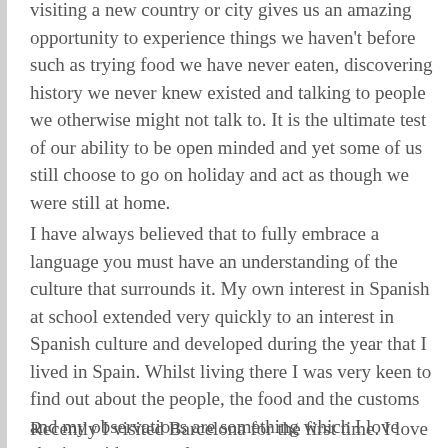visiting a new country or city gives us an amazing opportunity to experience things we haven't before such as trying food we have never eaten, discovering history we never knew existed and talking to people we otherwise might not talk to. It is the ultimate test of our ability to be open minded and yet some of us still choose to go on holiday and act as though we were still at home.
I have always believed that to fully embrace a language you must have an understanding of the culture that surrounds it. My own interest in Spanish at school extended very quickly to an interest in Spanish culture and developed during the year that I lived in Spain. Whilst living there I was very keen to find out about the people, the food and the customs and my observations are something which I love sharing with my students.
Recently I visited Barcelona for the first time. I love going to